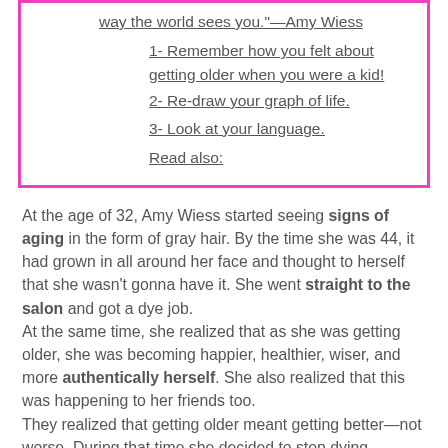way the world sees you."—Amy Wiess
1- Remember how you felt about getting older when you were a kid!
2- Re-draw your graph of life.
3- Look at your language.
Read also:
At the age of 32, Amy Wiess started seeing signs of aging in the form of gray hair. By the time she was 44, it had grown in all around her face and thought to herself that she wasn't gonna have it. She went straight to the salon and got a dye job.
At the same time, she realized that as she was getting older, she was becoming happier, healthier, wiser, and more authentically herself. She also realized that this was happening to her friends too.
They realized that getting older meant getting better—not worse. During that time she decided to stop dying